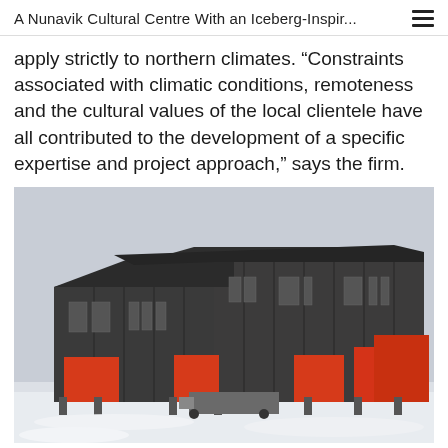A Nunavik Cultural Centre With an Iceberg-Inspir...
apply strictly to northern climates. “Constraints associated with climatic conditions, remoteness and the cultural values of the local clientele have all contributed to the development of a specific expertise and project approach,” says the firm.
[Figure (photo): Exterior photograph of a large dark grey/charcoal building with red accent panels at the base and entrance areas, set in a snowy flat landscape under a pale grey sky. The building has a modern industrial design with vertical metal cladding and multiple windows.]